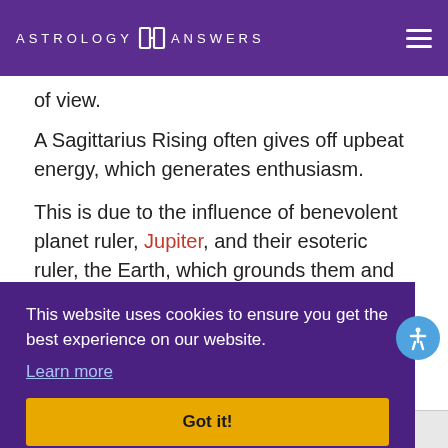ASTROLOGY ANSWERS
of view.
A Sagittarius Rising often gives off upbeat energy, which generates enthusiasm.
This is due to the influence of benevolent planet ruler, Jupiter, and their esoteric ruler, the Earth, which grounds them and enables them to merge a higher perspective with a grounded one.
This website uses cookies to ensure you get the best experience on our website.
Learn more
Got it!